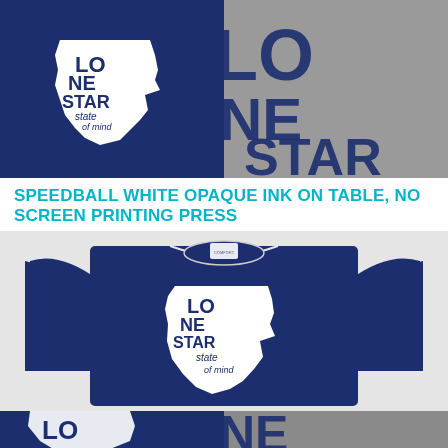[Figure (photo): Top-left: Close-up of navy blue t-shirt with white Texas state shape graphic reading 'LONE STAR state of mind' in bold and script lettering]
[Figure (photo): Top-right: Close-up of gray fabric with large black lettering 'LONE STAR state mi...' screen printed design]
SPEEDBALL WHITE OPAQUE INK ON TABLE, NO SCREEN PRINTING PRESS
[Figure (photo): Main center image: Full navy blue t-shirt laid flat showing 'LONE STAR state of mind' design printed in white on chest area with Texas state shape]
[Figure (photo): Bottom-left partial: Close-up of navy blue t-shirt with white 'LO' lettering visible]
[Figure (photo): Bottom-right partial: Close-up of gray shirt with large dark lettering partially visible]